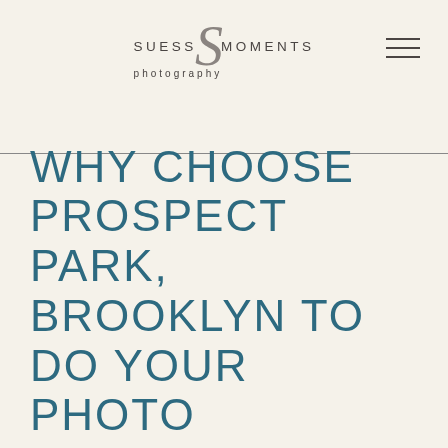[Figure (logo): Suess Moments Photography logo with stylized script S and uppercase lettering]
WHY CHOOSE PROSPECT PARK, BROOKLYN TO DO YOUR PHOTO